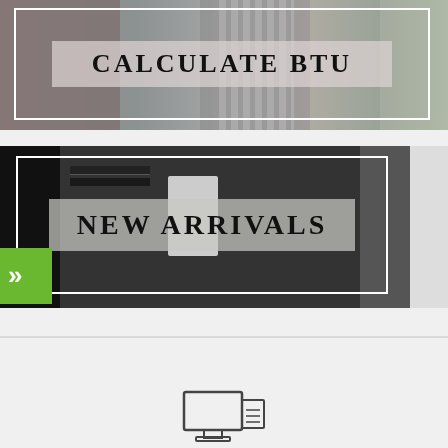[Figure (photo): Top banner image with bathroom/radiator scene in greyscale with pink/mauve tones, containing text 'CALCULATE BTU' overlaid on a semi-transparent panel inside a white border frame]
[Figure (photo): Middle banner image with a dark modern living room/home office scene in black and white, text 'NEW ARRIVALS' overlaid on a semi-transparent panel inside a white border frame, with a bright window visible on the right side]
[Figure (infographic): Green square button with double chevron/arrow pointing right (>>), positioned on the left edge over the New Arrivals banner]
[Figure (infographic): Small icon at bottom center, partially visible, appears to be a computer/device icon]